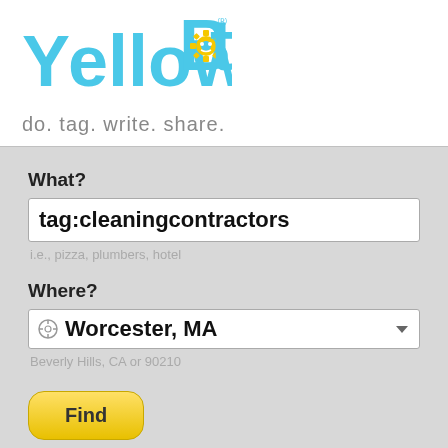[Figure (logo): YellowBot logo with colorful gear/robot icon, text in blue and yellow]
do. tag. write. share.
What?
tag:cleaningcontractors
i.e., pizza, plumbers, hotel
Where?
Worcester, MA
Beverly Hills, CA or 90210
Find
Sign in   Sign up
Showing cleaningcontractors